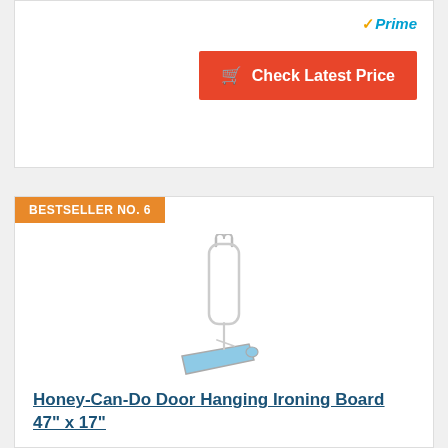[Figure (logo): Amazon Prime checkmark logo with gold check and blue 'Prime' text]
Check Latest Price
BESTSELLER NO. 6
[Figure (illustration): Honey-Can-Do door hanging ironing board with white frame and light blue board surface hanging from hooks]
Honey-Can-Do Door Hanging Ironing Board 47" x 17"
Space-saving ironing board easily hangs over any standard door
Smoothly folds up and down and safely